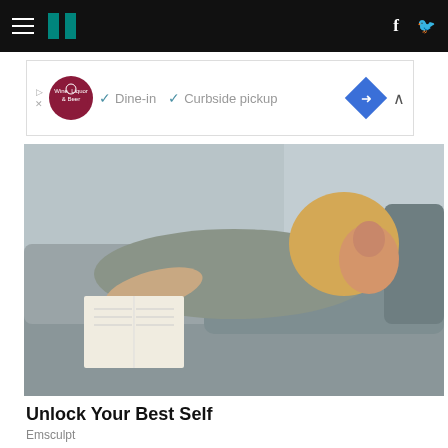HuffPost navigation bar with hamburger menu, logo, Facebook and Twitter icons
[Figure (infographic): Advertisement banner: Wine, Liquor & Beer store logo circle, checkmarks for Dine-in and Curbside pickup, blue diamond arrow icon, collapse caret]
[Figure (photo): Woman in grey top lying on a grey couch reading a book, looking at camera, long blonde hair]
Unlock Your Best Self
Emsculpt
[Figure (photo): Male golfer wearing a dark cap with yellow headband and red polo shirt, looking up, green foliage background]